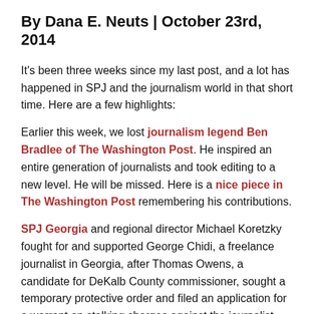By Dana E. Neuts | October 23rd, 2014
It's been three weeks since my last post, and a lot has happened in SPJ and the journalism world in that short time. Here are a few highlights:
Earlier this week, we lost journalism legend Ben Bradlee of The Washington Post. He inspired an entire generation of journalists and took editing to a new level. He will be missed. Here is a nice piece in The Washington Post remembering his contributions.
SPJ Georgia and regional director Michael Koretzky fought for and supported George Chidi, a freelance journalist in Georgia, after Thomas Owens, a candidate for DeKalb County commissioner, sought a temporary protective order and filed an application for a warrant on stalking charges against the journalist. The protective order and application were both dismissed, upholding the First Amendment and helping to protect Chidi's right to do his job. Thanks to SPJ